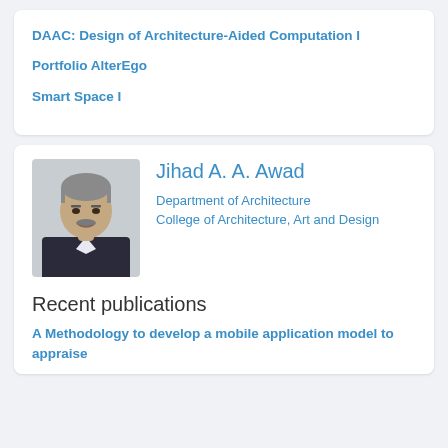DAAC: Design of Architecture-Aided Computation I
Portfolio AlterEgo
Smart Space I
[Figure (photo): Portrait photo of Jihad A. A. Awad, a middle-aged man with grey hair and mustache wearing a dark suit]
Jihad A. A. Awad
Department of Architecture
College of Architecture, Art and Design
Recent publications
A Methodology to develop a mobile application model to appraise